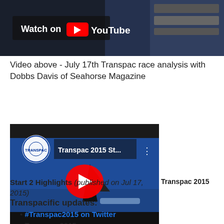[Figure (screenshot): Top portion of a YouTube video thumbnail showing a sailing race analysis video with 'Watch on YouTube' button visible, dark background with aerial view of ocean]
Video above - July 17th Transpac race analysis with Dobbs Davis of Seahorse Magazine
[Figure (screenshot): YouTube video thumbnail for 'Transpac 2015 St...' showing aerial view of a sailing yacht on blue ocean water with YouTube play button overlay and Transpac logo in top left]
Transpacific 2015 Start 2 Highlights (published on Jul 17, 2015)
Transpacific updates:
#Transpac2015 on Twitter
Transpac 2015